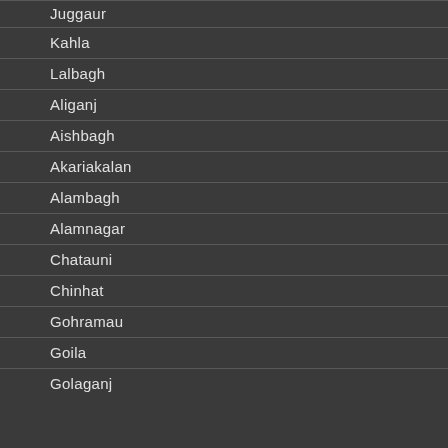Juggaur
Kahla
Lalbagh
Aliganj
Aishbagh
Akariakalan
Alambagh
Alamnagar
Chatauni
Chinhat
Gohramau
Goila
Golaganj